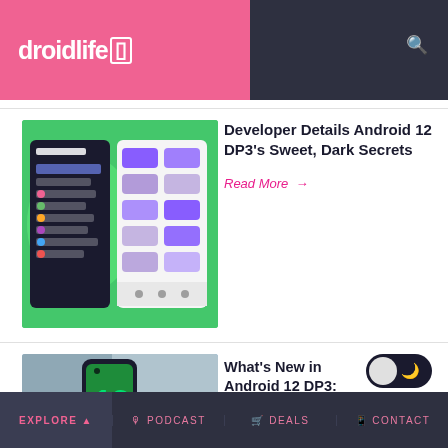droidlife
[Figure (screenshot): Android 12 settings screen with dark theme and purple color palette shown on a green background]
Developer Details Android 12 DP3’s Sweet, Dark Secrets
Read More →
[Figure (photo): Android 12 phone showing the number 12 on a green screen with dark theme toggle]
What’s New in Android 12 DP3: The Fun Stuff?
Read More →
Explore ▲   Podcast   Deals   Contact